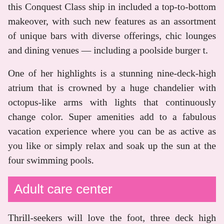this Conquest Class ship in included a top-to-bottom makeover, with such new features as an assortment of unique bars with diverse offerings, chic lounges and dining venues — including a poolside burger t.
One of her highlights is a stunning nine-deck-high atrium that is crowned by a huge chandelier with octopus-like arms with lights that continuously change color. Super amenities add to a fabulous vacation experience where you can be as active as you like or simply relax and soak up the sun at the four swimming pools.
Adult care center
Thrill-seekers will love the foot, three deck high waterslide and drencher, sure to delight the kids and those young at heart. Catch some rays and